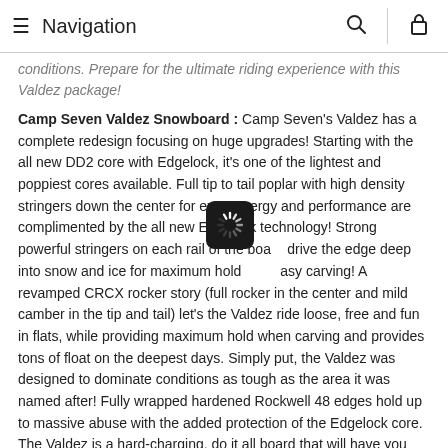≡  Navigation  🔍  🔒
conditions. Prepare for the ultimate riding experience with this Valdez package!
Camp Seven Valdez Snowboard : Camp Seven's Valdez has a complete redesign focusing on huge upgrades! Starting with the all new DD2 core with Edgelock, it's one of the lightest and poppiest cores available. Full tip to tail poplar with high density stringers down the center for extra energy and performance are complimented by the all new Edgelock technology! Strong powerful stringers on each rail of the board drive the edge deep into snow and ice for maximum hold and easy carving! A revamped CRCX rocker story (full rocker in the center and mild camber in the tip and tail) let's the Valdez ride loose, free and fun in flats, while providing maximum hold when carving and provides tons of float on the deepest days. Simply put, the Valdez was designed to dominate conditions as tough as the area it was named after! Fully wrapped hardened Rockwell 48 edges hold up to massive abuse with the added protection of the Edgelock core. The Valdez is a hard-charging, do it all board that will have you bombing lines you never thought possible!
[Figure (other): Loading spinner overlay — dark rounded square with white spinning indicator]